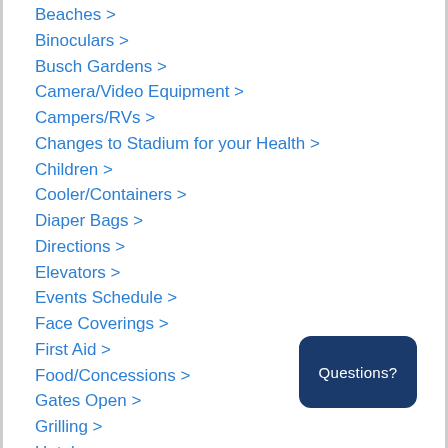Beaches >
Binoculars >
Busch Gardens >
Camera/Video Equipment >
Campers/RVs >
Changes to Stadium for your Health >
Children >
Cooler/Containers >
Diaper Bags >
Directions >
Elevators >
Events Schedule >
Face Coverings >
First Aid >
Food/Concessions >
Gates Open >
Grilling >
Hotels >
Information Booths >
Items Not Allowed in Stadium >
Merchandise >
Mobile Tickets >